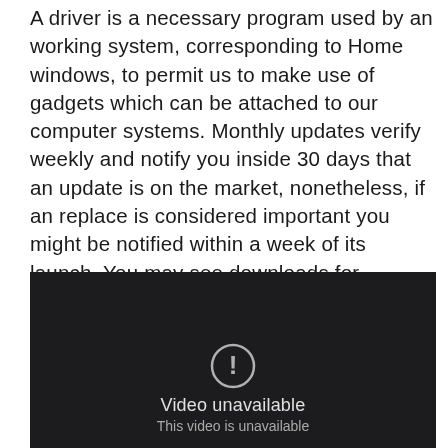A driver is a necessary program used by an working system, corresponding to Home windows, to permit us to make use of gadgets which can be attached to our computer systems. Monthly updates verify weekly and notify you inside 30 days that an update is on the market, nonetheless, if an replace is considered important you might be notified within a week of its launch. You may see downloads for particular Workplace purposes, or you can download the up to date installer for your entire Workplace suite.
[Figure (screenshot): Video player showing 'Video unavailable' message with a dark background. An exclamation mark icon is visible at the bottom center, with the text 'Video unavailable' and 'This video is unavailable' below it.]